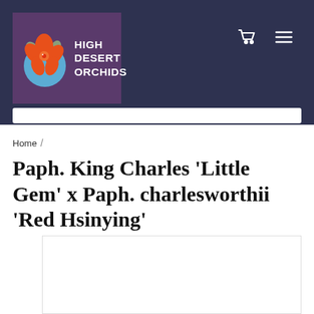[Figure (logo): High Desert Orchids logo with orange orchid flowers on a blue circle, on a purple background, with bold white text reading HIGH DESERT ORCHIDS]
Home /
Paph. King Charles 'Little Gem' x Paph. charlesworthii 'Red Hsinying'
[Figure (photo): Product photo area (white/blank, partially visible)]